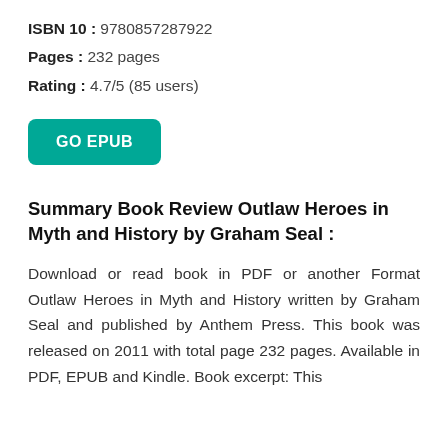ISBN 10 : 9780857287922
Pages : 232 pages
Rating : 4.7/5 (85 users)
[Figure (other): Teal/green rounded rectangle button labeled GO EPUB]
Summary Book Review Outlaw Heroes in Myth and History by Graham Seal :
Download or read book in PDF or another Format Outlaw Heroes in Myth and History written by Graham Seal and published by Anthem Press. This book was released on 2011 with total page 232 pages. Available in PDF, EPUB and Kindle. Book excerpt: This